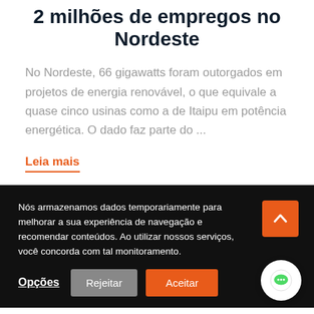2 milhões de empregos no Nordeste
No Nordeste, 66 gigawatts foram outorgados em projetos de energia renovável, o que equivale a quase cinco usinas como a de Itaipu em potência energética. O dado faz parte do ...
Leia mais
Nós armazenamos dados temporariamente para melhorar a sua experiência de navegação e recomendar conteúdos. Ao utilizar nossos serviços, você concorda com tal monitoramento.
Opções    Rejeitar    Aceitar